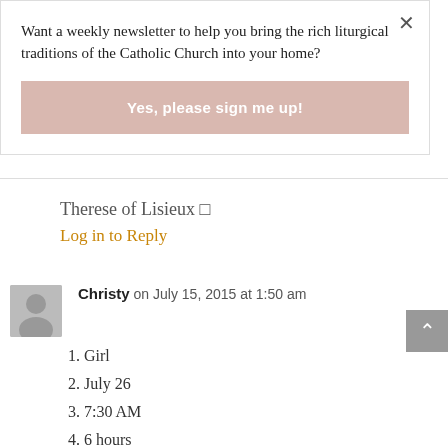Want a weekly newsletter to help you bring the rich liturgical traditions of the Catholic Church into your home?
Yes, please sign me up!
Therese of Lisieux □
Log in to Reply
Christy on July 15, 2015 at 1:50 am
1. Girl
2. July 26
3. 7:30 AM
4. 6 hours
5. 8 lbs